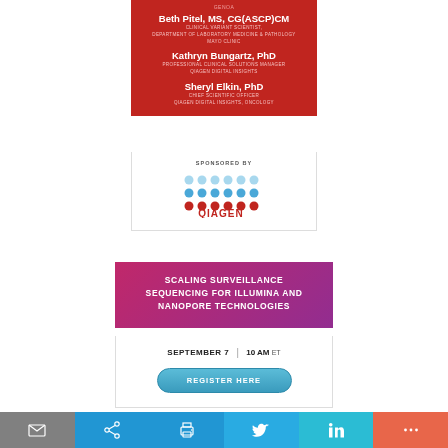[Figure (infographic): Red promotional card listing three speakers: Beth Pitel MS CG(ASCP)CM, Kathryn Bungartz PhD, Sheryl Elkin PhD with their roles at Mayo Clinic and QIAGEN Digital Insights]
[Figure (logo): QIAGEN logo with blue and red dot grid above text, under SPONSORED BY label]
[Figure (infographic): Purple/magenta banner with white bold text: SCALING SURVEILLANCE SEQUENCING FOR ILLUMINA AND NANOPORE TECHNOLOGIES]
SEPTEMBER 7  |  10 AM ET
REGISTER HERE
[Figure (infographic): Bottom toolbar with email, share, print, Twitter, LinkedIn, and more icons]